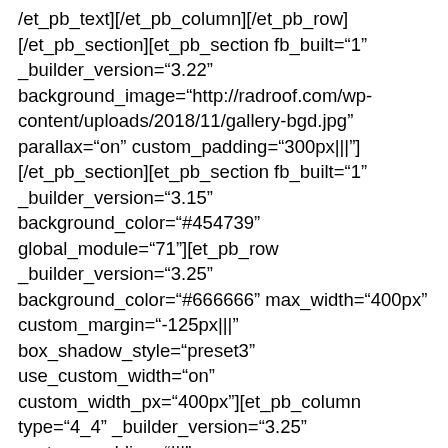/et_pb_text][/et_pb_column][/et_pb_row][/et_pb_section][et_pb_section fb_built="1" _builder_version="3.22" background_image="http://radroof.com/wp-content/uploads/2018/11/gallery-bgd.jpg" parallax="on" custom_padding="300px|||"][/et_pb_section][et_pb_section fb_built="1" _builder_version="3.15" background_color="#454739" global_module="71"][et_pb_row _builder_version="3.25" background_color="#666666" max_width="400px" custom_margin="-125px|||" box_shadow_style="preset3" use_custom_width="on" custom_width_px="400px"][et_pb_column type="4_4" _builder_version="3.25" custom_padding="|||" custom_padding__hover="|||"][et_pb_image src="http://radroof.com/wp-content/uploads/2018/09/logo-white.png" align="center" align_tablet="center" align_phone="" align_last_edited="on|desktop" _builder_version="3.23"][/et_pb_image][/et_pb_column][/et_pb_row][et_pb_row column_structure="1_3,1_3,1_3" make_equal="on"